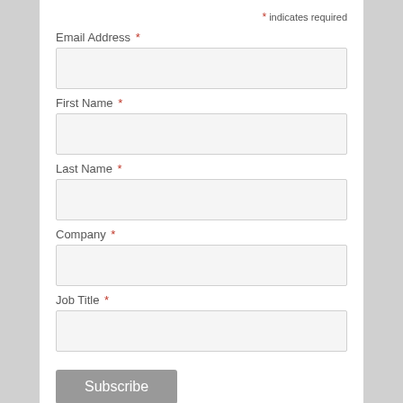* indicates required
Email Address *
First Name *
Last Name *
Company *
Job Title *
Subscribe